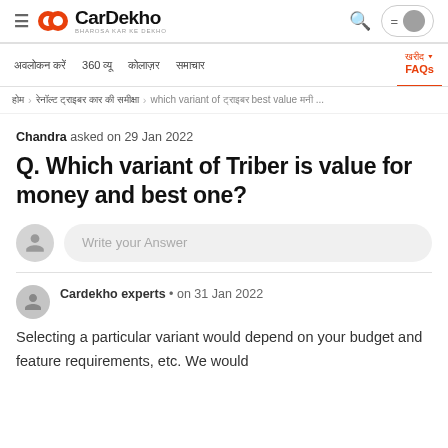CarDekho — BHAROSA KAR KE DEKHO
Nav: [Hindi] 360 [Hindi] [Hindi] [Hindi] FAQs
Breadcrumb: [Home] > [Renault Triber page] > which variant of [Hindi] value [Hindi]...
Chandra asked on 29 Jan 2022
Q. Which variant of Triber is value for money and best one?
Write your Answer
Cardekho experts • on 31 Jan 2022
Selecting a particular variant would depend on your budget and feature requirements, etc. We would